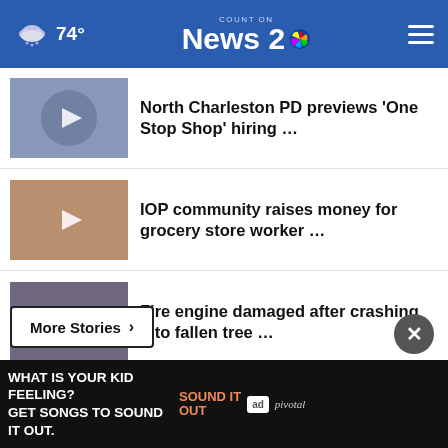Count on News 2 — 74°
North Charleston PD previews 'One Stop Shop' hiring …
IOP community raises money for grocery store worker …
Fire engine damaged after crashing into fallen tree …
SLED: Dorchester man charged for threatening to 'blast' …
More Stories ›
[Figure (screenshot): Advertisement banner: 'What is your kid feeling? Get songs to sound it out.' Sound It Out, Ad Council, Pivotal]